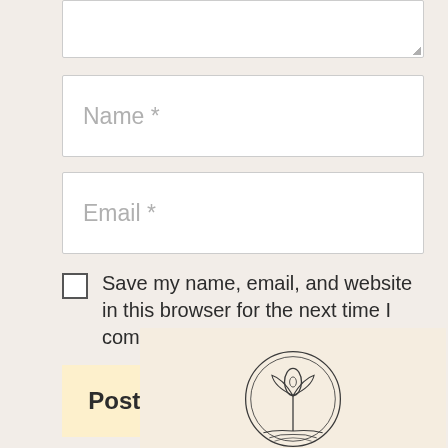[Figure (other): Partial textarea form field at top of page (cropped)]
Name *
Email *
Save my name, email, and website in this browser for the next time I comment.
Post Comment
[Figure (logo): Circular botanical logo illustration showing a plant/flower with leaves inside a circle, drawn in outline style on a warm beige background]